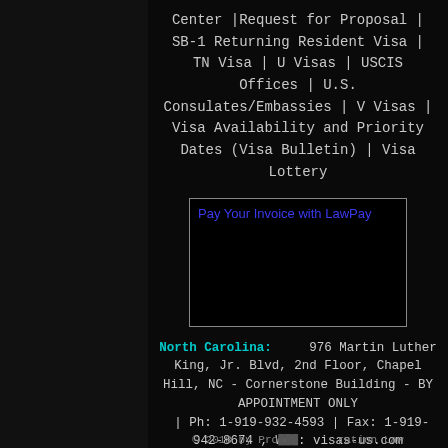Center |Request for Proposal | SB-1 Returning Resident Visa | TN Visa | U Visas | USCIS Offices | U.S. Consulates/Embassies | V Visas | Visa Availability and Priority Dates (Visa Bulletin) | Visa Lottery
[Figure (other): Pay Your Invoice with LawPay button/image placeholder]
North Carolina: 976 Martin Luther King, Jr. Blvd, 2nd Floor, Chapel Hill, NC - Cornerstone Building - BY APPOINTMENT ONLY | Ph: 1-919-932-4593 | Fax: 1-919-942-8674 , Web: visas-us.com
© 2018 by Pro... ...gration Law